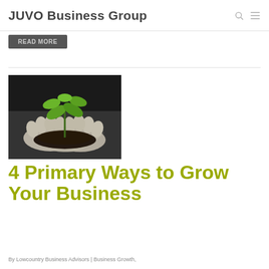JUVO Business Group
Read More
[Figure (photo): Black and white photo of a person's cupped hands holding soil with a small green plant sprouting from it]
4 Primary Ways to Grow Your Business
By Lowcountry Business Advisors | Business Growth,